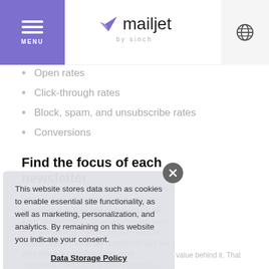mailjet by sinch
Open rates
Click-through rates
Block, spam, and unsubscribe rates
Conversions
Find the focus of each newsletter
You don't want to overwhelm your subscribers with too much information. For an optimal newsletter, focus on one or two topics for each week or month (however often you send your newsletters). If you're not sure what to choose, take a look at the competition and see what they are successful and, more importantly, where they're falling short. Do what they're not doing and track your results.
You need to make sure that your newsletter has value behind it. That means crafting a specific brand voice that your
This website stores data such as cookies to enable essential site functionality, as well as marketing, personalization, and analytics. By remaining on this website you indicate your consent.
Data Storage Policy